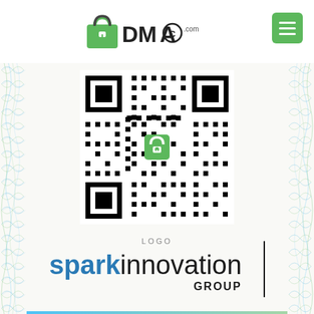DMCA.com
[Figure (other): QR code with DMCA lock icon in the center, on a certificate background with blue and green guilloche border patterns. Below the QR code is a 'LOGO' label and the Spark Innovation Group logo.]
LOGO
sparkinnovation GROUP